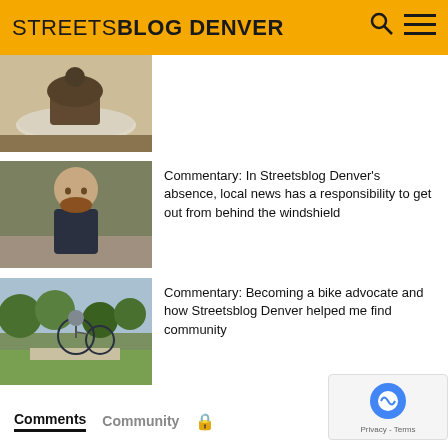STREETSBLOG DENVER
[Figure (photo): Chocolate cupcake on a white plate, partially visible at top of page]
[Figure (photo): Man smiling outdoors on a city street]
Commentary: In Streetsblog Denver's absence, local news has a responsibility to get out from behind the windshield
[Figure (photo): Person riding a bicycle on a path in a park]
Commentary: Becoming a bike advocate and how Streetsblog Denver helped me find community
Comments   Community   🔒   1